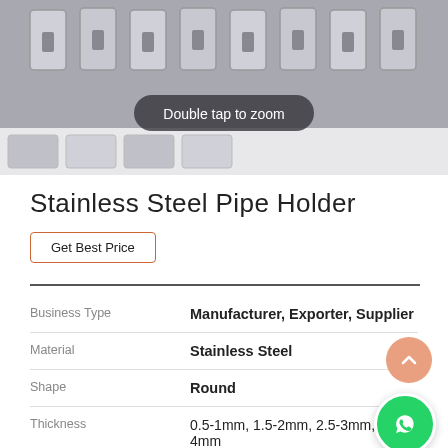[Figure (photo): Stainless steel pipe holder clips arranged in a row, metallic hardware product photo with a 'Double tap to zoom' overlay pill button]
Stainless Steel Pipe Holder
Get Best Price
| Property | Value |
| --- | --- |
| Business Type | Manufacturer, Exporter, Supplier |
| Material | Stainless Steel |
| Shape | Round |
| Thickness | 0.5-1mm, 1.5-2mm, 2.5-3mm, 3.5-4mm |